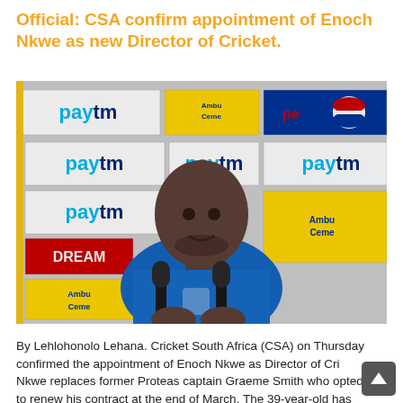Official: CSA confirm appointment of Enoch Nkwe as new Director of Cricket.
[Figure (photo): Enoch Nkwe in South Africa cricket blue jersey at a press conference with microphones in front of him and sponsor boards (Paytm, Ambuja Cement, Pepsi) in the background.]
By Lehlohonolo Lehana. Cricket South Africa (CSA) on Thursday confirmed the appointment of Enoch Nkwe as Director of Cricket. Nkwe replaces former Proteas captain Graeme Smith who opted not to renew his contract at the end of March. The 39-year-old has...